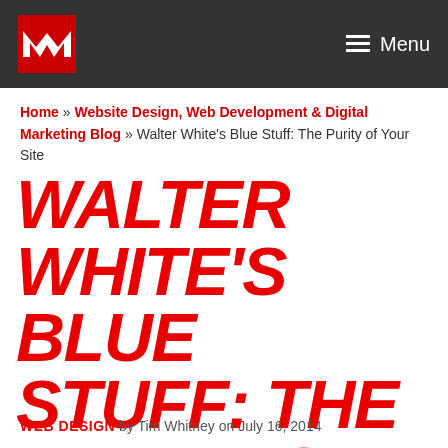M Menu
Home » Website Design, Web Development & Digital Marketing Blog » Walter White's Blue Stuff: The Purity of Your Site
WALTER WHITE'S BLUE STUFF: THE PURITY OF YOUR SITE
WEB DESIGN by Tim Whitney on July 16, 2014